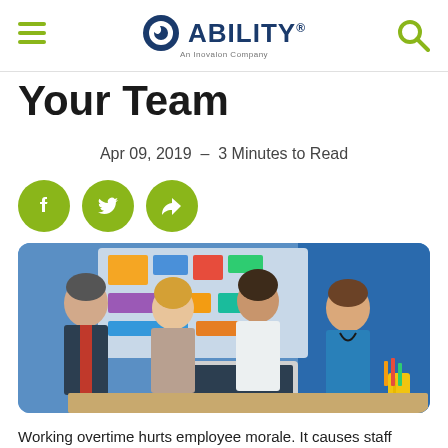ABILITY® – An Inovalon Company
Your Team
Apr 09, 2019  –  3 Minutes to Read
[Figure (other): Social share buttons: Facebook, Twitter, Share]
[Figure (photo): Four healthcare professionals (a man in a suit, a woman in business attire, a woman in a white coat, and a man in blue scrubs) gathered around a laptop in a meeting room]
Working overtime hurts employee morale. It causes staff burnout and hinders the patient experience, which can also occur when a shift is understaffed. There's often a correlation